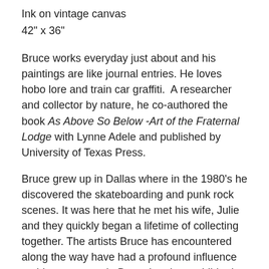Ink on vintage canvas
42" x 36"
Bruce works everyday just about and his paintings are like journal entries. He loves hobo lore and train car graffiti.  A researcher and collector by nature, he co-authored the book As Above So Below -Art of the Fraternal Lodge with Lynne Adele and published by University of Texas Press.
Bruce grew up in Dallas where in the 1980's he discovered the skateboarding and punk rock scenes. It was here that he met his wife, Julie and they quickly began a lifetime of collecting together. The artists Bruce has encountered along the way have had a profound influence on his own artwork. Bruce Lee has exhibited internationally and finds his work going to collections the world over.
His grandparents were missionaries in the mountains of Kerala, South India during the 1930's and 40's, where his mother was born. In his youth he was surrounded with their esoteric books